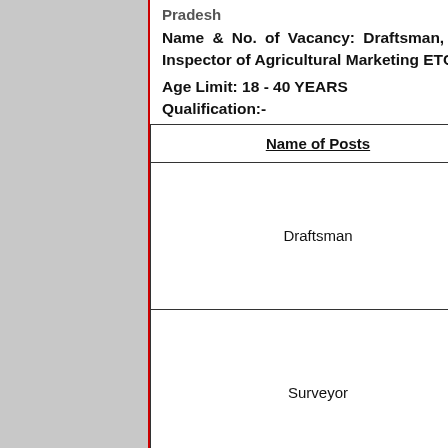Pradesh
Name & No. of Vacancy: Draftsman, Surveyor, Tabulator, Agricultural Marketing Inspector, Senior Inspector of Agricultural Marketing ETC - 173 Posts
Age Limit: 18 - 40 YEARS
Qualification:-
| Name of Posts | No.of Posts | Qualification |
| --- | --- | --- |
| Draftsman | 39 Posts | A certificate Diploma in a recog... |
| Surveyor | 29 Posts | Candidate Diploma in a reco... |